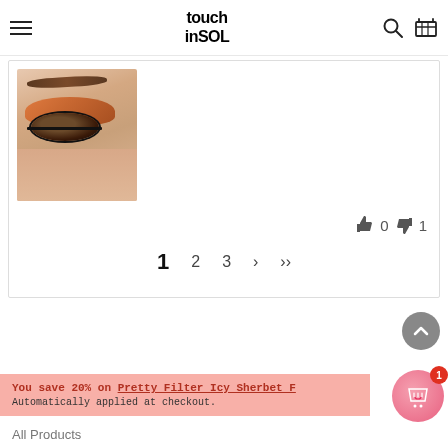touch in SOL — navigation header with search and cart icons
[Figure (photo): Close-up photo of a person's eye with orange/copper eyeshadow and dramatic eyeliner with lashes]
👍 0  👎 1
1  2  3  ›  »
[Figure (other): Scroll-up button (grey circle with up arrow)]
You save 20% on Pretty Filter Icy Sherbet F
Automatically applied at checkout.
[Figure (other): Shopping bag button with heart icon and badge showing 1]
All Products